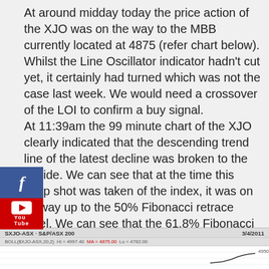At around midday today the price action of the XJO was on the way to the MBB currently located at 4875 (refer chart below).  Whilst the Line Oscillator indicator hadn't cut yet, it certainly had turned which was not the case last week.  We would need a crossover of the LOI to confirm a buy signal. At 11:39am the 99 minute chart of the XJO clearly indicated that the descending trend line of the latest decline was broken to the upside. We can see that at the time this snap shot was taken of the index, it was on its way up to the 50% Fibonacci retrace level.  We can see that the 61.8% Fibonacci retrace level is close to the above mentioned MBB level of 4875 so this area may present a bit of a stumbling block to the trend.
[Figure (screenshot): Chart preview showing SXJO-ASX S&P/ASX 200, BOLL($XJO-ASX,20,2) Hi=4997.40 MA=4875.00 Lo=4782.00, date 3/4/2011, with price level 4950.00 visible]